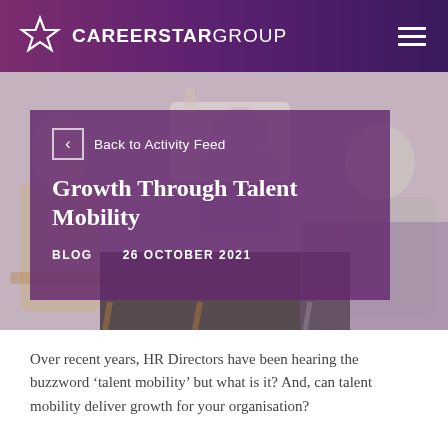CAREERSTARGROUP
[Figure (photo): Background photo of people sitting in chairs in a meeting or consultation setting, blurred/semi-visible behind purple overlay]
Back to Activity Feed
Growth Through Talent Mobility
BLOG   26 OCTOBER 2021
Over recent years, HR Directors have been hearing the buzzword ‘talent mobility’ but what is it? And, can talent mobility deliver growth for your organisation?